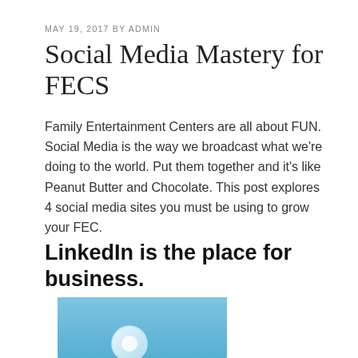MAY 19, 2017 BY ADMIN
Social Media Mastery for FECS
Family Entertainment Centers are all about FUN. Social Media is the way we broadcast what we're doing to the world. Put them together and it's like Peanut Butter and Chocolate. This post explores 4 social media sites you must be using to grow your FEC.
LinkedIn is the place for business.
[Figure (illustration): Partial view of a blue rounded rectangle LinkedIn logo icon, cropped at bottom of page]